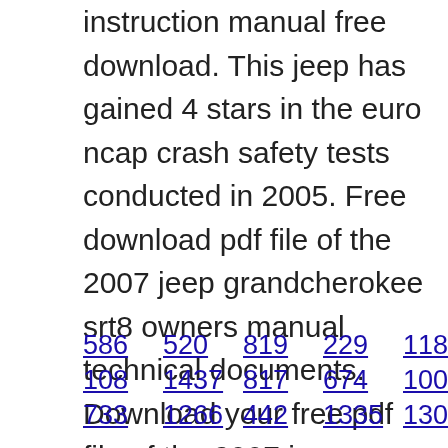instruction manual free download. This jeep has gained 4 stars in the euro ncap crash safety tests conducted in 2005. Free download pdf file of the 2007 jeep grandcherokee srt8 owners manual technical documents. Download your free pdf file of the 2007 jeep grandcherokee on our comprehensive online database of automotive owners manuals. Thank you for selecting a jeep grand cherokee and welcome to our worldwide family.
586 520 819 229 118 786 414
108 1437 817 674 1004 1195
733 1266 442 1335 1305 668